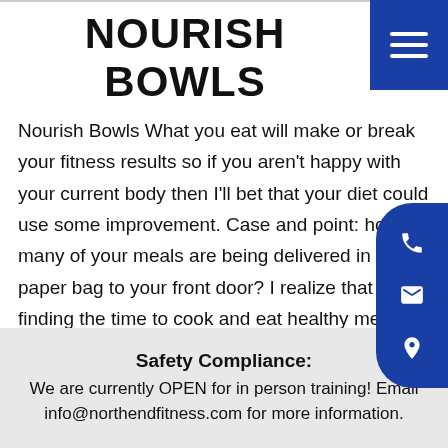NOURISH BOWLS
Nourish Bowls What you eat will make or break your fitness results so if you aren't happy with your current body then I'll bet that your diet could use some improvement. Case and point: how many of your meals are being delivered in a paper bag to your front door? I realize that finding the time to cook and eat healthy meals is a challenge for many of my clients and so I'd like to introduce you to the Nourish Bowl. What is
Safety Compliance:
We are currently OPEN for in person training! Email info@northendfitness.com for more information.